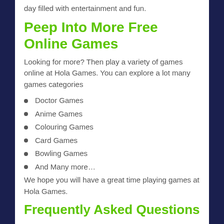day filled with entertainment and fun.
Peep Into More Free Online Games
Looking for more? Then play a variety of games online at Hola Games. You can explore a lot many games categories
Doctor Games
Anime Games
Colouring Games
Card Games
Bowling Games
And Many more…
We hope you will have a great time playing games at Hola Games.
Frequently Asked Questions